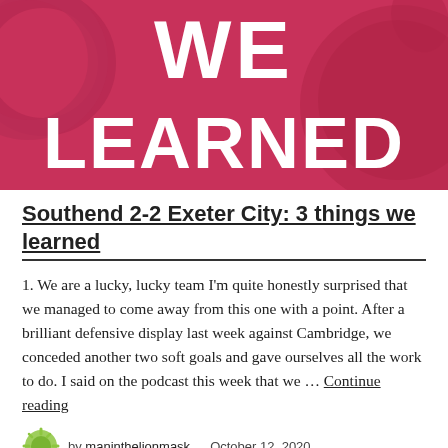[Figure (illustration): Pink/crimson banner image with large white bold text reading 'WE LEARNED' in uppercase, with decorative circular graphic elements on the left and right sides.]
Southend 2-2 Exeter City: 3 things we learned
1. We are a lucky, lucky team I'm quite honestly surprised that we managed to come away from this one with a point. After a brilliant defensive display last week against Cambridge, we conceded another two soft goals and gave ourselves all the work to do. I said on the podcast this week that we … Continue reading
by maninthelionmask   October 12, 2020